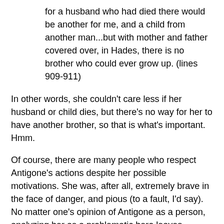for a husband who had died there would be another for me, and a child from another man...but with mother and father covered over, in Hades, there is no brother who could ever grow up. (lines 909-911)
In other words, she couldn't care less if her husband or child dies, but there's no way for her to have another brother, so that is what's important. Hmm.
Of course, there are many people who respect Antigone's actions despite her possible motivations. She was, after all, extremely brave in the face of danger, and pious (to a fault, I'd say). No matter one's opinion of Antigone as a person, analyzing her as a problematic hero leaves readers with the